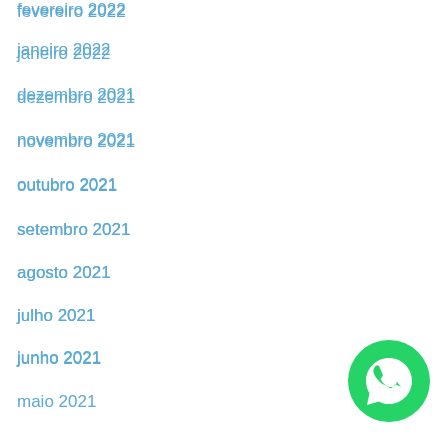fevereiro 2022
janeiro 2022
dezembro 2021
novembro 2021
outubro 2021
setembro 2021
agosto 2021
julho 2021
junho 2021
maio 2021
abril 2021
março 2021
fevereiro 2021
janeiro 2021
dezembro 2020
[Figure (logo): WhatsApp green circular logo button]